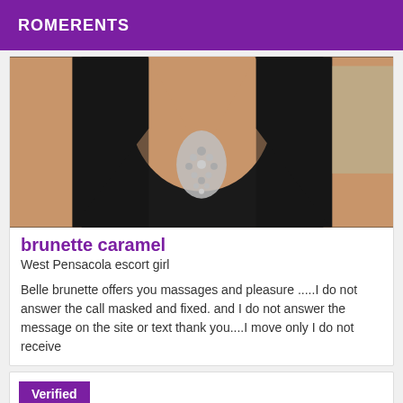ROMERENTS
[Figure (photo): Photo of a person wearing a black dress with a deep neckline and jeweled necklace/brooch detail]
brunette caramel
West Pensacola escort girl
Belle brunette offers you massages and pleasure .....I do not answer the call masked and fixed. and I do not answer the message on the site or text thank you....I move only I do not receive
Verified